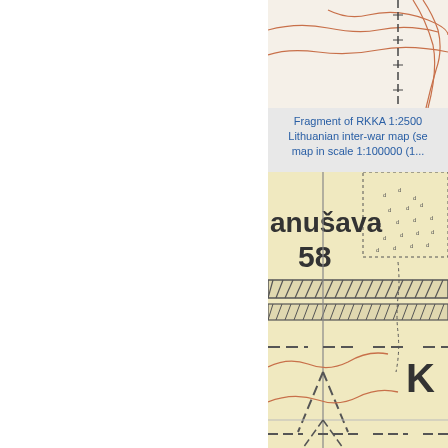[Figure (map): Fragment of a historical topographic map (top portion) showing terrain with contour lines, dashed boundary lines, and map features on a white/light background.]
Fragment of RKKA 1:2500 Lithuanian inter-war map (se map in scale 1:100000 (1...
[Figure (map): Fragment of RKKA 1:25000 Lithuanian inter-war topographic map showing settlement 'anušava 58', railway line with hatching, dotted boundary, dashed roads, contour lines in orange/red, and letter 'K' in lower right. Yellow/beige background typical of Soviet military maps.]